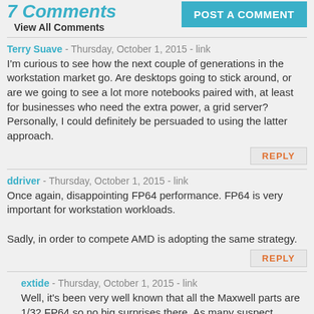7 Comments
View All Comments
POST A COMMENT
Terry Suave - Thursday, October 1, 2015 - link
I'm curious to see how the next couple of generations in the workstation market go. Are desktops going to stick around, or are we going to see a lot more notebooks paired with, at least for businesses who need the extra power, a grid server? Personally, I could definitely be persuaded to using the latter approach.
REPLY
ddriver - Thursday, October 1, 2015 - link
Once again, disappointing FP64 performance. FP64 is very important for workstation workloads.

Sadly, in order to compete AMD is adopting the same strategy.
REPLY
extide - Thursday, October 1, 2015 - link
Well, it's been very well known that all the Maxwell parts are 1/32 FP64 so no big surprises there. As many suspect, including myself, this was done because we have been stuck at 28nm for so long, and they preferred to spend the transistor budget on other stuff. There is always still GK110/210 for the heavy hitting